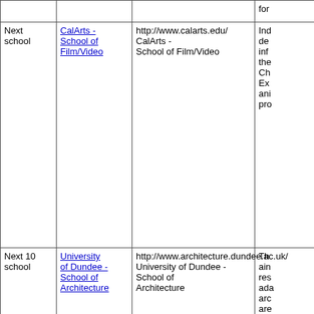|  |  |  |  |
| --- | --- | --- | --- |
|  |  |  | for |
| Next school | CalArts - School of Film/Video | http://www.calarts.edu/ CalArts - School of Film/Video | Ind de inf the Ch Ex ani pro |
| Next 10 school | University of Dundee - School of Architecture | http://www.architecture.dundee.ac.uk/ University of Dundee - School of Architecture | Th ain res ada arc are res cre res the a c cha pro |
| Random 1 school |  |  |  |